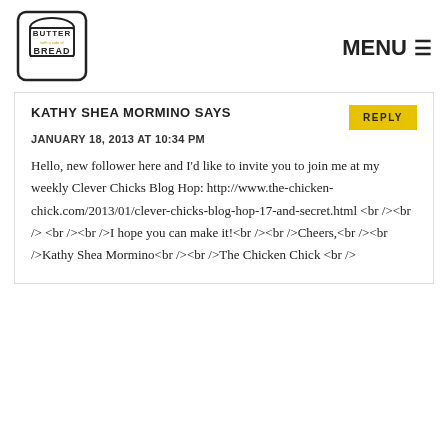[Figure (logo): Butter with a side of Bread logo — bread slice with text inside a rounded square border]
MENU ☰
KATHY SHEA MORMINO SAYS
JANUARY 18, 2013 AT 10:34 PM
Hello, new follower here and I'd like to invite you to join me at my weekly Clever Chicks Blog Hop: http://www.the-chicken-chick.com/2013/01/clever-chicks-blog-hop-17-and-secret.html <br /><br /> <br /><br />I hope you can make it!<br /><br />Cheers,<br /><br />Kathy Shea Mormino<br /><br />The Chicken Chick <br />